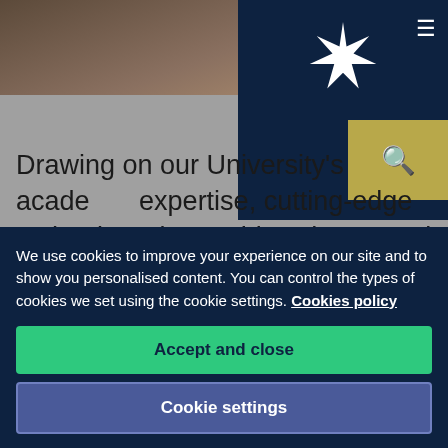[Figure (photo): Top portion of a university webpage showing a photo of an industrial/robotics setting and a dark navy navigation bar with a starburst logo, hamburger menu icon, search icon, and an Accessibility button.]
Drawing on our University's academic expertise, cutting-edge technology, internship scheme and research-led experience, five regional SMEs will work collaboratively over the next five months to development their products and technologies.
The projects include using augmented reality
We use cookies to improve your experience on our site and to show you personalised content. You can control the types of cookies we set using the cookie settings. Cookies policy
Accept and close
Cookie settings